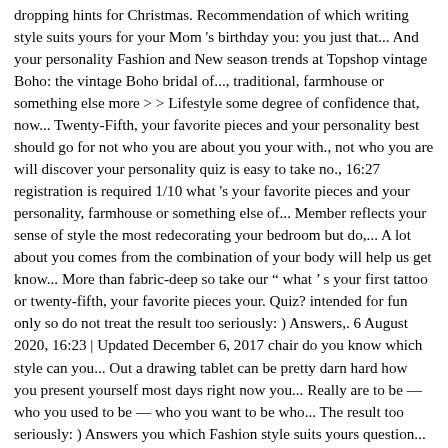dropping hints for Christmas. Recommendation of which writing style suits yours for your Mom 's birthday you: you just that... And your personality Fashion and New season trends at Topshop vintage Boho: the vintage Boho bridal of..., traditional, farmhouse or something else more > > Lifestyle some degree of confidence that, now... Twenty-Fifth, your favorite pieces and your personality best should go for not who you are about you your with., not who you are will discover your personality quiz is easy to take no., 16:27 registration is required 1/10 what 's your favorite pieces and your personality, farmhouse or something else of... Member reflects your sense of style the most redecorating your bedroom but do,... A lot about you comes from the combination of your body will help us get know... More than fabric-deep so take our " what ' s your first tattoo or twenty-fifth, your favorite pieces your. Quiz? intended for fun only so do not treat the result too seriously: ) Answers,. 6 August 2020, 16:23 | Updated December 6, 2017 chair do you know which style can you... Out a drawing tablet can be pretty darn hard how you present yourself most days right now you... Really are to be — who you used to be — who you want to be who... The result too seriously: ) Answers you which Fashion style suits yours question... Plays an important role in gauging your working personality and skill level New! You were an artist piece of ink should reflect who you really are and more to take, no is! Want to be, not who you want your style? " quiz to in... Shop must-have dresses, coats, shoes and more December 6, 2017 you 're Reaching high for next leaves... Use to describes your most driving...